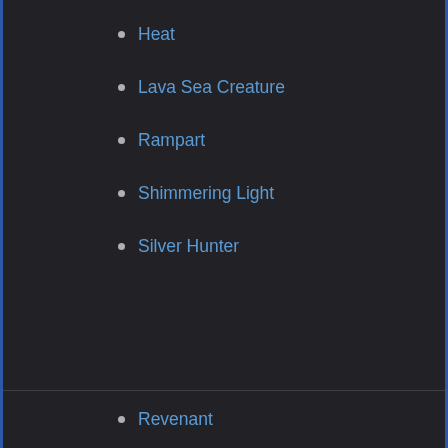Heat
Lava Sea Creature
Rampart
Shimmering Light
Silver Hunter
Magma
Emerald
Ember
Rekindled Ember
The Hypixel Wiki is currently in beta and you might come across incomplete or poorly formatted pages. Please report any issues you encounter here. [dismiss]
Revenant